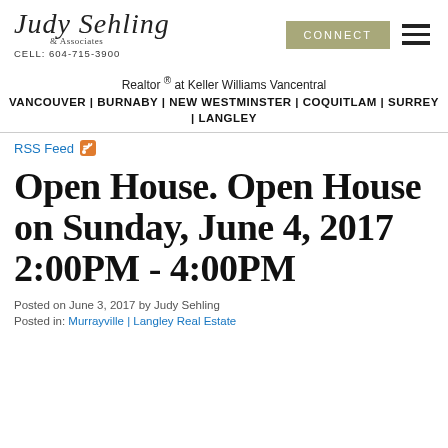Judy Sehling & Associates — CELL: 604-715-3900 | CONNECT
Realtor ® at Keller Williams Vancentral
VANCOUVER | BURNABY | NEW WESTMINSTER | COQUITLAM | SURREY | LANGLEY
RSS Feed
Open House. Open House on Sunday, June 4, 2017 2:00PM - 4:00PM
Posted on June 3, 2017 by Judy Sehling
Posted in: Murrayville | Langley Real Estate